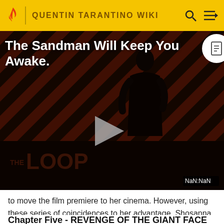QUENTIN TARANTINO WIKI
[Figure (screenshot): Video thumbnail with diagonal red and black stripes, a figure in black clothing, play button overlay, THE LOOP watermark, title text 'The Sandman Will Keep You Awake.' and NaN:NaN timestamp]
to move the film premiere to her cinema. However, using these series of coincidences to her advantage, Shosanna plots to blow her theater up, and take all of the top Nazi officials out.
Chapter Five - REVENGE OF THE GIANT FACE